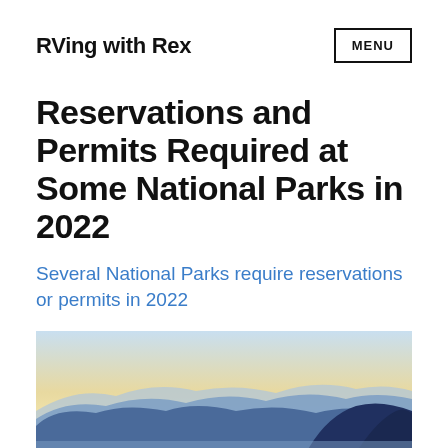RVing with Rex
Reservations and Permits Required at Some National Parks in 2022
Several National Parks require reservations or permits in 2022
[Figure (photo): Mountain landscape with blue layered mountains and a warm glowing sky at dusk or dawn]